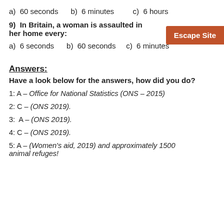a)  60 seconds     b)  6 minutes          c)  6 hours
9)  In Britain, a woman is assaulted in her home every:
a)  6 seconds     b)  60 seconds     c)  6 minutes
Answers:
Have a look below for the answers, how did you do?
1: A – Office for National Statistics (ONS – 2015)
2: C – (ONS 2019).
3:  A – (ONS 2019).
4: C – (ONS 2019).
5: A – (Women's aid, 2019) and approximately 1500 animal refuges!